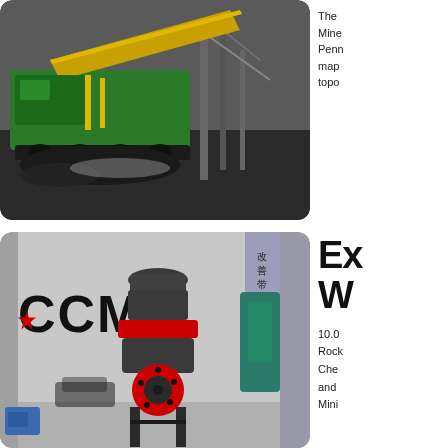[Figure (photo): Mining equipment: a large green and yellow screening/conveying machine on dark coal/gravel, with industrial crane/machinery in background]
The Mine Penn map topo
[Figure (photo): Industrial crusher machine (cone crusher) with red flywheel, gray body, labeled with CCM logo and red star. Chinese text on banner in background. Various construction equipment visible.]
Ex W 10.0 Rock Che and Mini